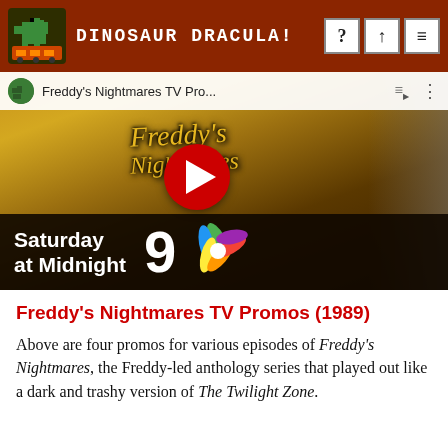DINOSAUR DRACULA!
[Figure (screenshot): YouTube video thumbnail for Freddy's Nightmares TV Promos showing 'Saturday at Midnight' on NBC 9, with a red play button overlay and golden stylized Freddy's Nightmares text on a dark background]
Freddy's Nightmares TV Promos (1989)
Above are four promos for various episodes of Freddy's Nightmares, the Freddy-led anthology series that played out like a dark and trashy version of The Twilight Zone.